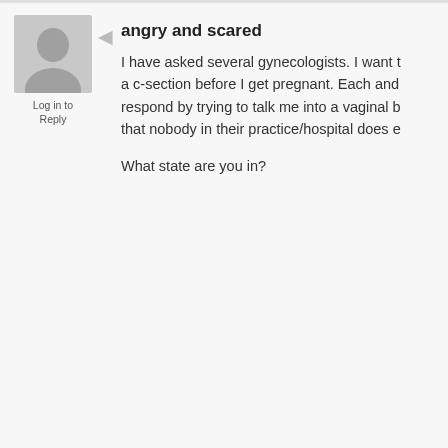angry and scared
Log in to Reply
I have asked several gynecologists. I want to have a c-section before I get pregnant. Each and every respond by trying to talk me into a vaginal b that nobody in their practice/hospital does e

What state are you in?
Charybdis
You might try collecting a list of vaginal b everything from minor to fucking devasta doctor why they are touting vaginal birth or "whatever", given the fact that any nu go wrong. A planned CS removes all of doctors cannot guarantee you an easy v injuries or long-lasting repercussions to baby. Mention you are not willing to gam floor or the fact that you are reliably toile since toddlerhood, and are not willing to